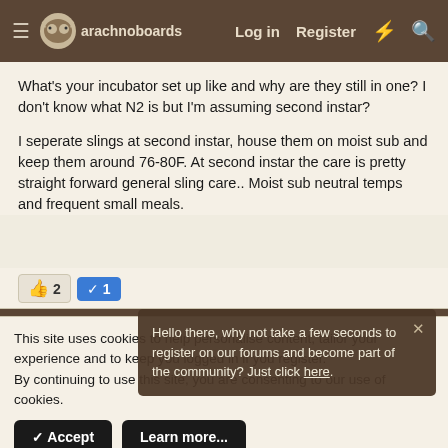arachnoboards — Log in  Register
What's your incubator set up like and why are they still in one? I don't know what N2 is but I'm assuming second instar?

I seperate slings at second instar, house them on moist sub and keep them around 76-80F. At second instar the care is pretty straight forward general sling care.. Moist sub neutral temps and frequent small meals.
👍 2  ✔ 1
May 3, 2017
Haksi
Bad At Titles
Hello there, why not take a few seconds to register on our forums and become part of the community? Just click here.
This site uses cookies to help personalise content, tailor your experience and to keep you logged in if you register.
By continuing to use this site, you are consenting to our use of cookies.
✓ Accept   Learn more...